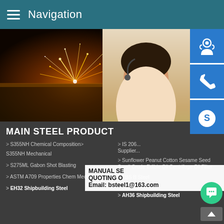Navigation
[Figure (photo): Sparks flying from industrial metal cutting/welding process on a steel plate, dark background with bright orange and yellow sparks.]
[Figure (photo): Smiling Asian woman wearing a headset, customer service representative, light background.]
MANUAL SE... QUOTING O... Email: bsteel1@163.com
MAIN STEEL PRODUCT
> S355NH Chemical Composition
> S355NH Mechanical
> IS 206... Supplier...
> S275ML Gabon Shot Blasting
> Sunflower Peanut Cotton Sesame Seed Small Crude Edible Oil Centrifuge Oil Filter
> ASTM A709 Properties Chem Mech Rankings
> ABS B Steel
> ABS D Steel
> EH32 Shipbuilding Steel
> AH36 Shipbuilding Steel